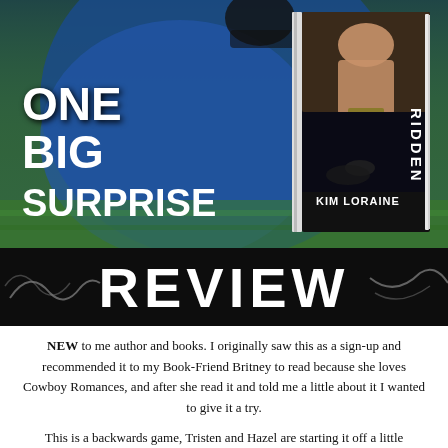[Figure (illustration): Book promotional image. Left side shows a football player in blue uniform on grass field. Overlaid white bold text reads 'ONE BIG SURPRISE'. Right side shows a book cover titled 'RIDDEN' by KIM LORAINE, depicting a shirtless cowboy and a rider on horseback.]
[Figure (illustration): Black banner with white bold text 'REVIEW' and decorative handwritten scribble/signature overlaid in a lighter color across the banner.]
NEW to me author and books. I originally saw this as a sign-up and recommended it to my Book-Friend Britney to read because she loves Cowboy Romances, and after she read it and told me a little about it I wanted to give it a try.
This is a backwards game, Tristen and Hazel are starting it off a little backwards. When Hazel decides to let loose for one night, after learning news that new ex-bf of 5 years not only moved on after a hot minute but also got engaged then is getting married even faster...well things don't go as planned. Oh the romance and sexy times portion was spot on and perfect, but Tristen the sexy cowboy that calls her